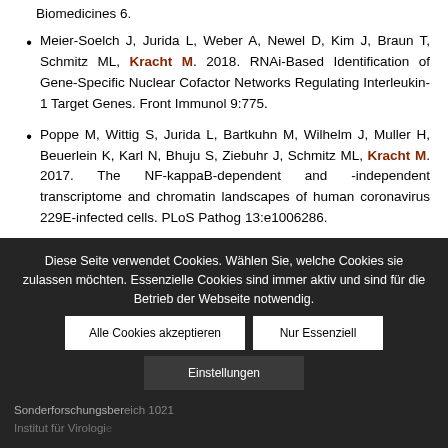Biomedicines 6.
Meier-Soelch J, Jurida L, Weber A, Newel D, Kim J, Braun T, Schmitz ML, Kracht M. 2018. RNAi-Based Identification of Gene-Specific Nuclear Cofactor Networks Regulating Interleukin-1 Target Genes. Front Immunol 9:775.
Poppe M, Wittig S, Jurida L, Bartkuhn M, Wilhelm J, Muller H, Beuerlein K, Karl N, Bhuju S, Ziebuhr J, Schmitz ML, Kracht M. 2017. The NF-kappaB-dependent and -independent transcriptome and chromatin landscapes of human coronavirus 229E-infected cells. PLoS Pathog 13:e1006286.
Diese Seite verwendet Cookies. Wählen Sie, welche Cookies sie zulassen möchten. Essenzielle Cookies sind immer aktiv und sind für die Betrieb der Webseite notwendig.
Alle Cookies akzeptieren | Nur Essenziell | Einstellungen
Sonderforschungsbereich 1021
Institut für Virologie